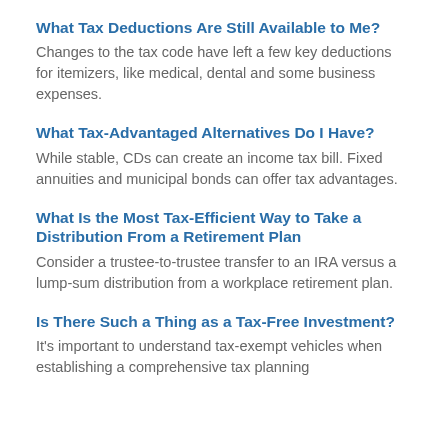What Tax Deductions Are Still Available to Me?
Changes to the tax code have left a few key deductions for itemizers, like medical, dental and some business expenses.
What Tax-Advantaged Alternatives Do I Have?
While stable, CDs can create an income tax bill. Fixed annuities and municipal bonds can offer tax advantages.
What Is the Most Tax-Efficient Way to Take a Distribution From a Retirement Plan
Consider a trustee-to-trustee transfer to an IRA versus a lump-sum distribution from a workplace retirement plan.
Is There Such a Thing as a Tax-Free Investment?
It's important to understand tax-exempt vehicles when establishing a comprehensive tax planning